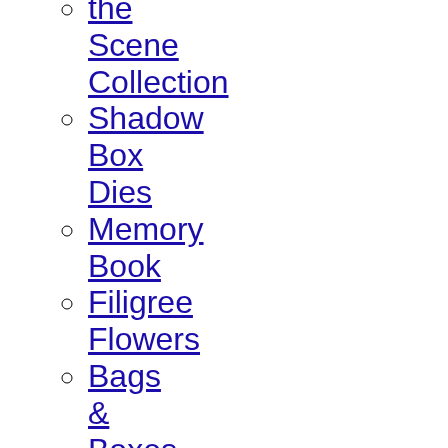Shadow Box Dies
Memory Book
Filigree Flowers
Bags & Boxes
Rustic Lace
Occasions Cut-a-Card
View All
Embossing
Link